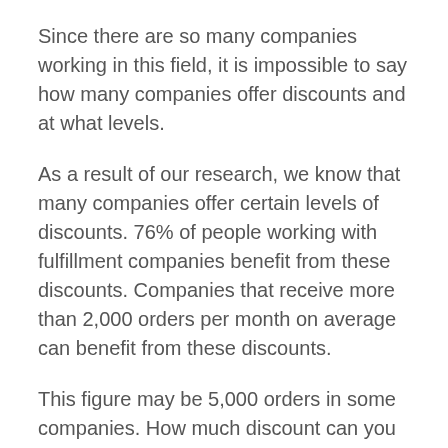Since there are so many companies working in this field, it is impossible to say how many companies offer discounts and at what levels.
As a result of our research, we know that many companies offer certain levels of discounts. 76% of people working with fulfillment companies benefit from these discounts. Companies that receive more than 2,000 orders per month on average can benefit from these discounts.
This figure may be 5,000 orders in some companies. How much discount can you provide? It will vary depending on the company you work for, but the average figure varies between 3% and 10%.